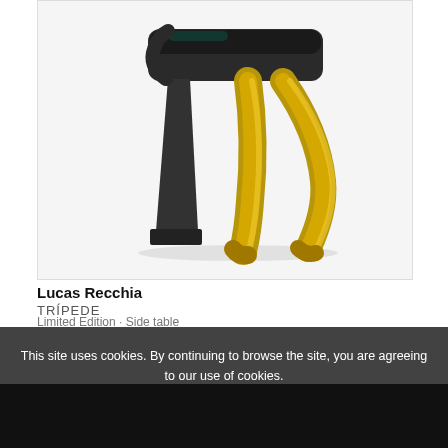[Figure (photo): A designer stool called TRÍPEDE by Lucas Recchia. The stool has an asymmetric sculptural form with one dark/black textured leg and support, and two polished gold/brass legs. The seat top is a dark rounded rectangular slab. Shot against a white background.]
Lucas Recchia
TRÍPEDE
Limited Edition · Side table
This site uses cookies. By continuing to browse the site, you are agreeing to our use of cookies.